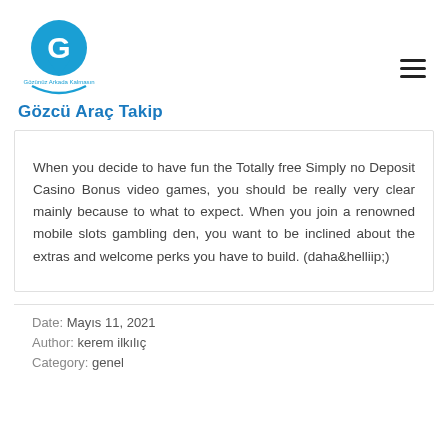Gözcü Araç Takip
When you decide to have fun the Totally free Simply no Deposit Casino Bonus video games, you should be really very clear mainly because to what to expect. When you join a renowned mobile slots gambling den, you want to be inclined about the extras and welcome perks you have to build. (daha&helliip;)
Date: Mayıs 11, 2021
Author: kerem ilkılıç
Category: genel